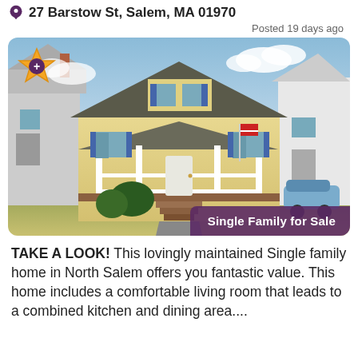27 Barstow St, Salem, MA 01970
Posted 19 days ago
[Figure (photo): Exterior photo of a single family craftsman-style home with yellow siding, covered porch with white railings, American flag, and blue shutters. Neighboring houses visible on both sides.]
Single Family for Sale
TAKE A LOOK! This lovingly maintained Single family home in North Salem offers you fantastic value. This home includes a comfortable living room that leads to a combined kitchen and dining area....